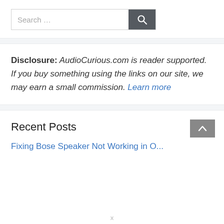[Figure (screenshot): Search bar with text 'Search ...' and a dark grey search button with magnifying glass icon]
Disclosure: AudioCurious.com is reader supported. If you buy something using the links on our site, we may earn a small commission. Learn more
Recent Posts
Fixing Bose Speaker Not Working in O...